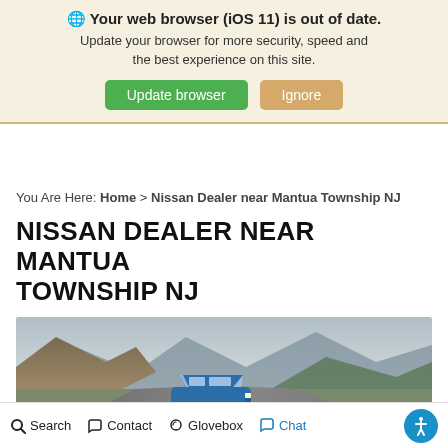🌐 Your web browser (iOS 11) is out of date. Update your browser for more security, speed and the best experience on this site. Update browser | Ignore
You Are Here: Home > Nissan Dealer near Mantua Township NJ
NISSAN DEALER NEAR MANTUA TOWNSHIP NJ
[Figure (photo): Blue Nissan SUV driving on a winding road with mountains in the background]
Search  Contact  Glovebox  Chat  [Accessibility icon]